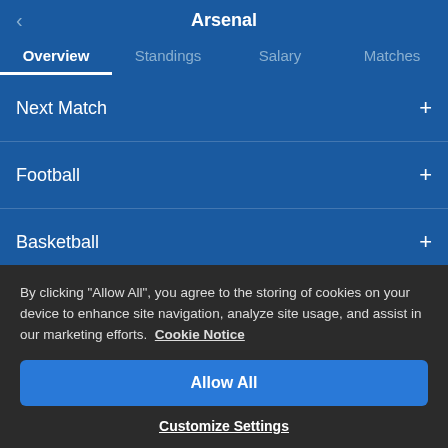Arsenal
Overview
Standings
Salary
Matches
Next Match +
Football +
Basketball +
Visit localized Football live score version of AiScore +
By clicking "Allow All", you agree to the storing of cookies on your device to enhance site navigation, analyze site usage, and assist in our marketing efforts. Cookie Notice
Allow All
Customize Settings